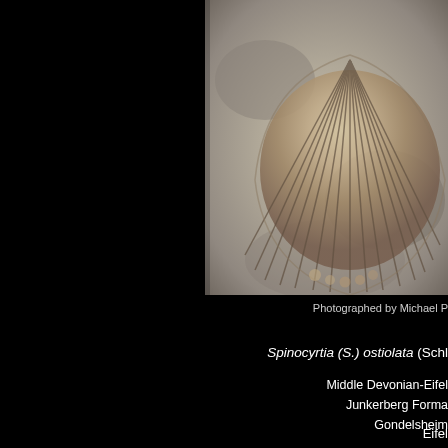[Figure (photo): Close-up photograph of a Spinocyrtia (S.) ostiolata fossil brachiopod showing radiating ribs/costae, tan and gray coloring on a gray matrix background]
Photographed by Michael P
Spinocyrtia (S.) ostiolata (Schl
Middle Devonian-Eifel
Junkerberg Forma
Gondelsheim
Eifel
GERMANY